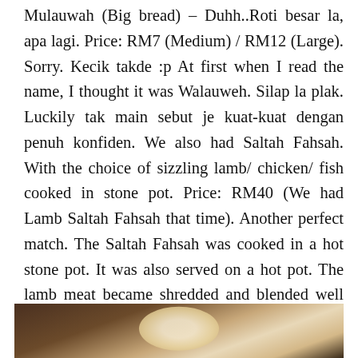Mulauwah (Big bread) – Duhh..Roti besar la, apa lagi. Price: RM7 (Medium) / RM12 (Large). Sorry. Kecik takde :p At first when I read the name, I thought it was Walauweh. Silap la plak. Luckily tak main sebut je kuat-kuat dengan penuh konfiden. We also had Saltah Fahsah. With the choice of sizzling lamb/ chicken/ fish cooked in stone pot. Price: RM40 (We had Lamb Saltah Fahsah that time). Another perfect match. The Saltah Fahsah was cooked in a hot stone pot. It was also served on a hot pot. The lamb meat became shredded and blended well with other spices.Imagine this. Tear a small piece of the Mulauwah bread, dip it in the Saltah Fahsah. Hmmm. Walauweh. Sedapnya. *No pun intended
[Figure (photo): A photograph showing food items, partially visible at the bottom of the page, with dark and light tones suggesting a plate or bowl of food.]